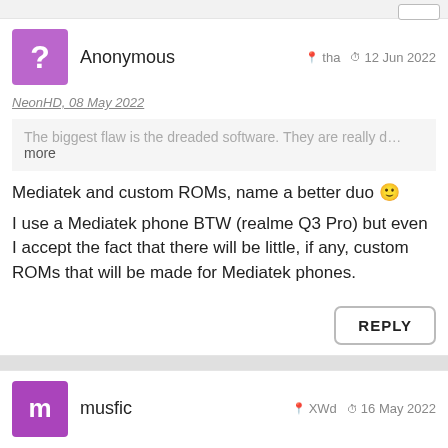Anonymous  tha  12 Jun 2022
NeonHD, 08 May 2022
The biggest flaw is the dreaded software. They are really d... more
Mediatek and custom ROMs, name a better duo 🙂
I use a Mediatek phone BTW (realme Q3 Pro) but even I accept the fact that there will be little, if any, custom ROMs that will be made for Mediatek phones.
REPLY
musfic  XWd  16 May 2022